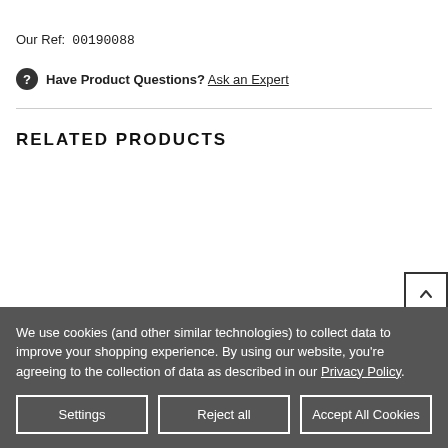Our Ref:  00190088
Have Product Questions? Ask an Expert
RELATED PRODUCTS
We use cookies (and other similar technologies) to collect data to improve your shopping experience. By using our website, you're agreeing to the collection of data as described in our Privacy Policy.
Settings | Reject all | Accept All Cookies